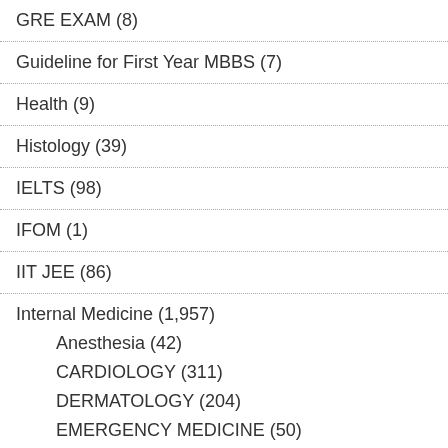GRE EXAM (8)
Guideline for First Year MBBS (7)
Health (9)
Histology (39)
IELTS (98)
IFOM (1)
IIT JEE (86)
Internal Medicine (1,957)
Anesthesia (42)
CARDIOLOGY (311)
DERMATOLOGY (204)
EMERGENCY MEDICINE (50)
ENDOCRINOLOGY (42)
ENT (37)